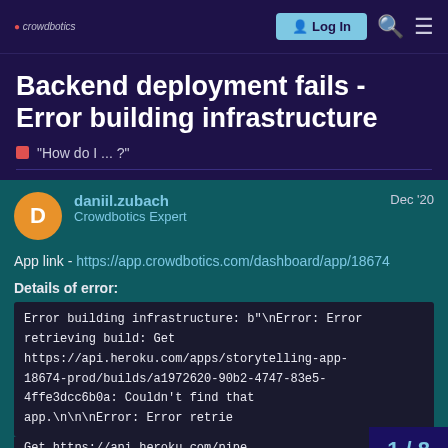crowdbotics | Log In
Backend deployment fails - Error building infrastructure
"How do I ... ?"
daniil.zubach
Crowdbotics Expert
Dec '20
App link - https://app.crowdbotics.com/dashboard/app/18674
Details of error:
Error building infrastructure: b"\nError: Error retrieving build: Get https://api.heroku.com/apps/storytelling-app-18674-prod/builds/a1972620-90b2-4747-83e5-4ffe3dcc6b0a: Couldn't find that app.\n\n\nError: Error retrie
Get https://api.heroku.com/pipe
1 / 8